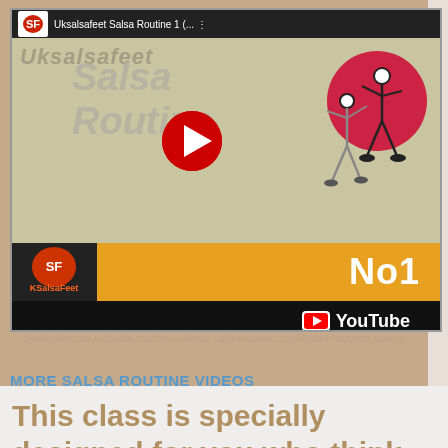[Figure (screenshot): YouTube video thumbnail showing 'Uksalsafeet Salsa Routine No1' with a play button, salsa dancer illustration, orange banner with No1, and YouTube branding bar at the bottom.]
MORE SALSA ROUTINE VIDEOS
This class is specially designed for you who think that you are incapable of learning how to